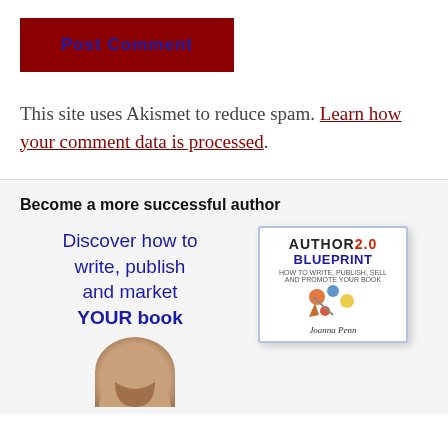[Figure (other): A dark red rectangular button labeled 'Post Comment' with blue bold text]
This site uses Akismet to reduce spam. Learn how your comment data is processed.
Become a more successful author
[Figure (illustration): Book promotion image: text 'Discover how to write, publish and market YOUR book' alongside a book cover titled 'AUTHOR 2.0 BLUEPRINT: How to write, publish, sell and promote your book' by Joanna Penn, with author photo below]